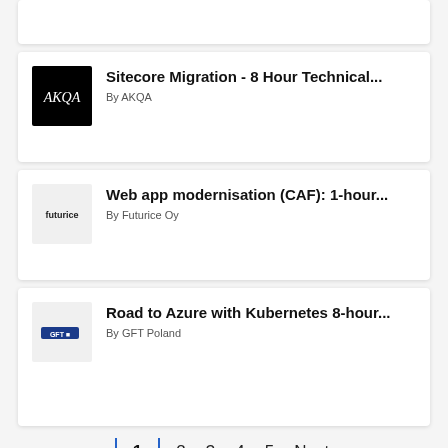[Figure (screenshot): Partial card at top of page (truncated listing)]
Sitecore Migration - 8 Hour Technical...
By AKQA
Web app modernisation (CAF): 1-hour...
By Futurice Oy
Road to Azure with Kubernetes 8-hour...
By GFT Poland
1  2  3  4  5  Next